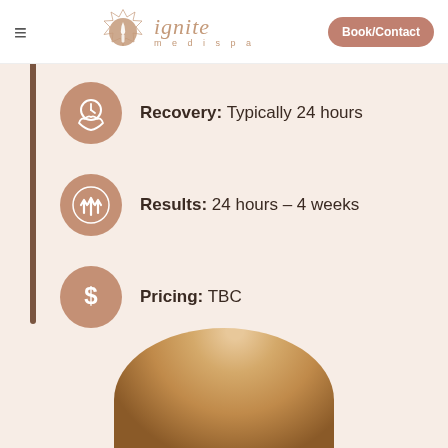ignite medispa — Book/Contact
Recovery: Typically 24 hours
Results: 24 hours - 4 weeks
Pricing: TBC
[Figure (photo): Circular cropped photo of a person with curly/wavy hair, warm tones, partially visible at bottom of page]